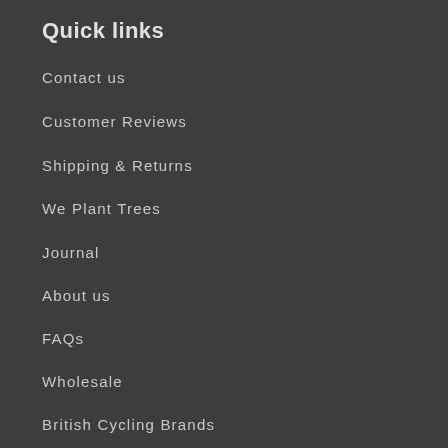Quick links
Contact us
Customer Reviews
Shipping & Returns
We Plant Trees
Journal
About us
FAQs
Wholesale
British Cycling Brands